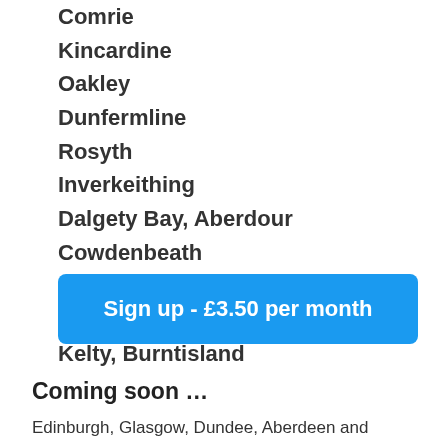Comrie
Kincardine
Oakley
Dunfermline
Rosyth
Inverkeithing
Dalgety Bay, Aberdour
Cowdenbeath
Lochgelly
Crossgates
Kelty, Burntisland
[Figure (other): Blue button: Sign up - £3.50 per month]
Coming soon …
Edinburgh, Glasgow, Dundee, Aberdeen and